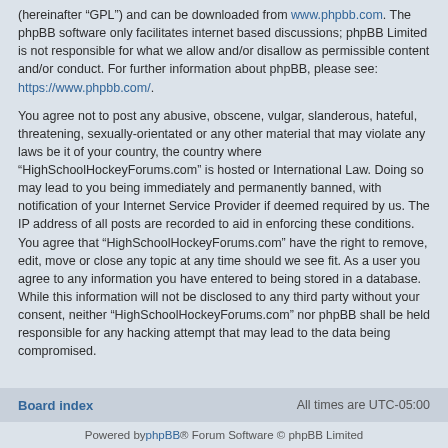(hereinafter “GPL”) and can be downloaded from www.phpbb.com. The phpBB software only facilitates internet based discussions; phpBB Limited is not responsible for what we allow and/or disallow as permissible content and/or conduct. For further information about phpBB, please see: https://www.phpbb.com/.
You agree not to post any abusive, obscene, vulgar, slanderous, hateful, threatening, sexually-orientated or any other material that may violate any laws be it of your country, the country where “HighSchoolHockeyForums.com” is hosted or International Law. Doing so may lead to you being immediately and permanently banned, with notification of your Internet Service Provider if deemed required by us. The IP address of all posts are recorded to aid in enforcing these conditions. You agree that “HighSchoolHockeyForums.com” have the right to remove, edit, move or close any topic at any time should we see fit. As a user you agree to any information you have entered to being stored in a database. While this information will not be disclosed to any third party without your consent, neither “HighSchoolHockeyForums.com” nor phpBB shall be held responsible for any hacking attempt that may lead to the data being compromised.
Back to login screen
Board index   All times are UTC-05:00   Powered by phpBB® Forum Software © phpBB Limited